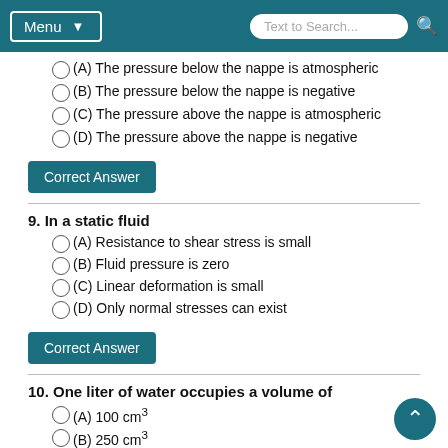Menu | Text to Search...
(A) The pressure below the nappe is atmospheric
(B) The pressure below the nappe is negative
(C) The pressure above the nappe is atmospheric
(D) The pressure above the nappe is negative
Correct Answer
9. In a static fluid
(A) Resistance to shear stress is small
(B) Fluid pressure is zero
(C) Linear deformation is small
(D) Only normal stresses can exist
Correct Answer
10. One liter of water occupies a volume of
(A) 100 cm³
(B) 250 cm³